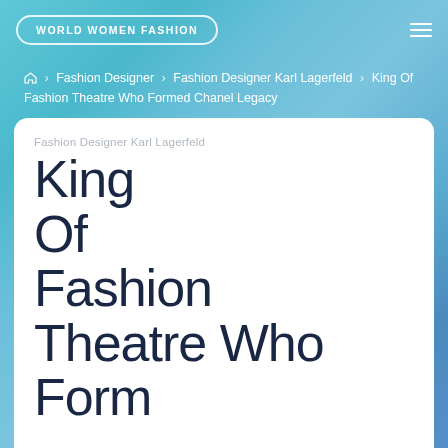WORLD WOMEN FASHION
Home › Fashion Designer › Fashion Designer Karl Lagerfeld › King Of Fashion Theatre Who Formed Chanel Legacy
Fashion Designer Karl Lagerfeld
King Of Fashion Theatre Who Formed